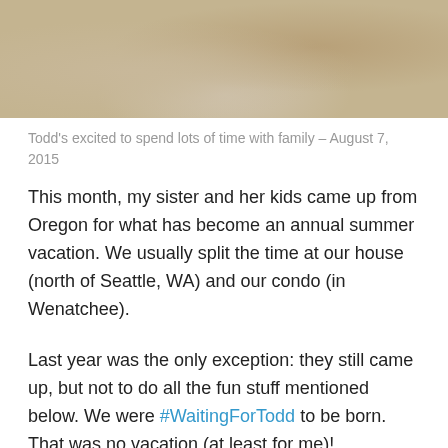[Figure (photo): Close-up photo of a baby's feet/legs on a light carpet surface]
Todd's excited to spend lots of time with family – August 7, 2015
This month, my sister and her kids came up from Oregon for what has become an annual summer vacation.  We usually split the time at our house (north of Seattle, WA) and our condo (in Wenatchee).
Last year was the only exception:  they still came up, but not to do all the fun stuff mentioned below.  We were #WaitingForTodd to be born.  That was no vacation (at least for me)!
Here's what we did on each fun-packed day this year....
AUGUST 7